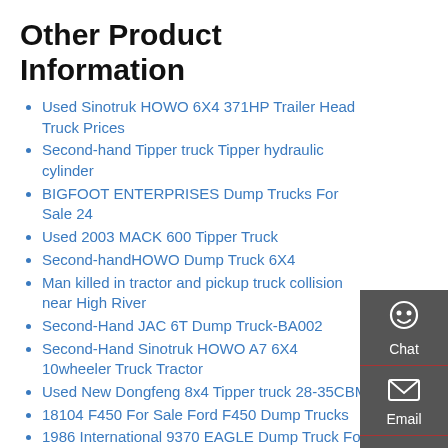Other Product Information
Used Sinotruk HOWO 6X4 371HP Trailer Head Truck Prices
Second-hand Tipper truck Tipper hydraulic cylinder
BIGFOOT ENTERPRISES Dump Trucks For Sale 24
Used 2003 MACK 600 Tipper Truck
Second-handHOWO Dump Truck 6X4
Man killed in tractor and pickup truck collision near High River
Second-Hand JAC 6T Dump Truck-BA002
Second-Hand Sinotruk HOWO A7 6X4 10wheeler Truck Tractor
Used New Dongfeng 8x4 Tipper truck 28-35CBM
18104 F450 For Sale Ford F450 Dump Trucks
1986 International 9370 EAGLE Dump Truck For Sale
Used Tractor Truck HOWO 6 4 ZZ4257N3241W for sale
HOWO Tractor Truck Dump Truck with 10 Wheel